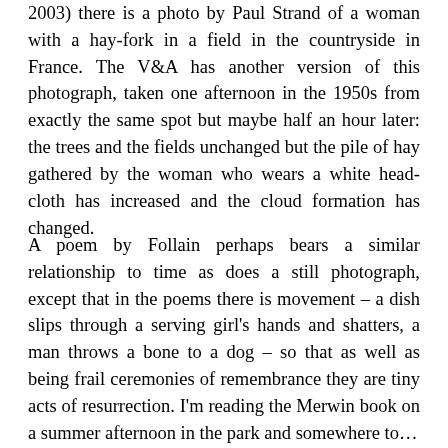2003) there is a photo by Paul Strand of a woman with a hay-fork in a field in the countryside in France. The V&A has another version of this photograph, taken one afternoon in the 1950s from exactly the same spot but maybe half an hour later: the trees and the fields unchanged but the pile of hay gathered by the woman who wears a white head-cloth has increased and the cloud formation has changed.
A poem by Follain perhaps bears a similar relationship to time as does a still photograph, except that in the poems there is movement – a dish slips through a serving girl's hands and shatters, a man throws a bone to a dog – so that as well as being frail ceremonies of remembrance they are tiny acts of resurrection. I'm reading the Merwin book on a summer afternoon in the park and somewhere...